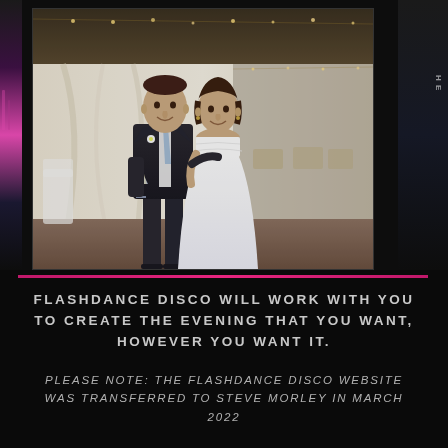[Figure (photo): Wedding couple photo: a groom in dark suit with light blue tie holding a champagne glass, and a bride in white strapless dress, posing together indoors at a wedding venue with draped curtains and string lights in background]
FLASHDANCE DISCO WILL WORK WITH YOU TO CREATE THE EVENING THAT YOU WANT, HOWEVER YOU WANT IT.
PLEASE NOTE: THE FLASHDANCE DISCO WEBSITE WAS TRANSFERRED TO STEVE MORLEY IN MARCH 2022